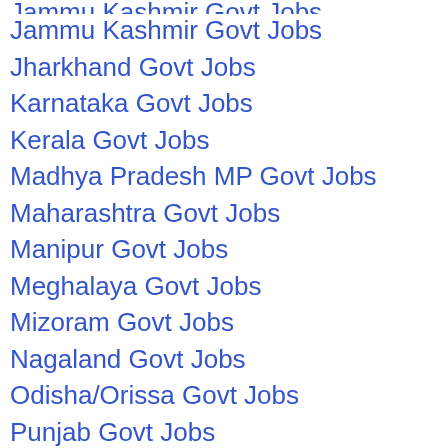Jammu Kashmir Govt Jobs
Jharkhand Govt Jobs
Karnataka Govt Jobs
Kerala Govt Jobs
Madhya Pradesh MP Govt Jobs
Maharashtra Govt Jobs
Manipur Govt Jobs
Meghalaya Govt Jobs
Mizoram Govt Jobs
Nagaland Govt Jobs
Odisha/Orissa Govt Jobs
Punjab Govt Jobs
Rajasthan Govt Jobs
Tamilnadu TN Govt Jobs